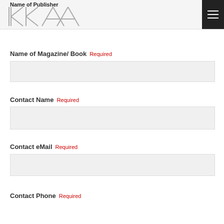Name of Publisher
[Figure (logo): KKAA architectural logo with zigzag/geometric letterforms in gray outline style]
Name of Magazine/ Book Required
Contact Name Required
Contact eMail Required
Contact Phone Required